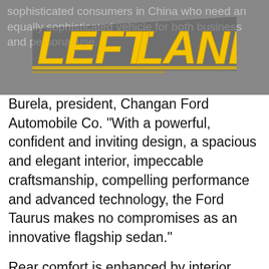sophisticated consumers in China who need an equally sophisticated vehicle for both business and personal use.
[Figure (logo): Left Lane News logo — bold yellow/gold italic text 'LEFT LANE' with speed-stripe design on grey background]
Burela, president, Changan Ford Automobile Co. "With a powerful, confident and inviting design, a spacious and elegant interior, impeccable craftsmanship, compelling performance and advanced technology, the Ford Taurus makes no compromises as an innovative flagship sedan."
Rear comfort is enhanced by interior equipment upgrades. The power-reclining rear seats feature optional adjustable lumbar support and a massage function. The center rear seat folds down to reveal a control panel